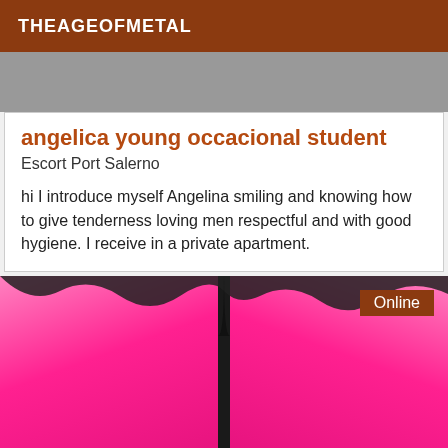THEAGEOFMETAL
[Figure (photo): Partial photo visible at top, dark and grey tones]
angelica young occacional student
Escort Port Salerno
hi I introduce myself Angelina smiling and knowing how to give tenderness loving men respectful and with good hygiene. I receive in a private apartment.
[Figure (photo): Close-up photo showing bright pink/magenta garment with dark center detail. An 'Online' badge appears in the top right corner.]